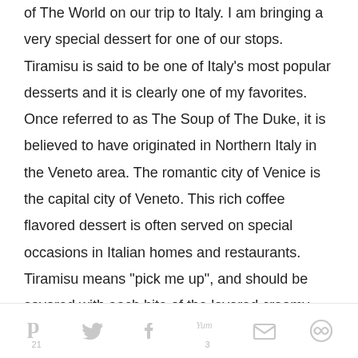of The World on our trip to Italy. I am bringing a very special dessert for one of our stops. Tiramisu is said to be one of Italy's most popular desserts and it is clearly one of my favorites. Once referred to as The Soup of The Duke, it is believed to have originated in Northern Italy in the Veneto area. The romantic city of Venice is the capital city of Veneto. This rich coffee flavored dessert is often served on special occasions in Italian homes and restaurants. Tiramisu means "pick me up", and should be savored with each bite of the layered creamy dessert. On January 17, 2013 Tiramisu was declared the official dish of the 6th World Day of Italian
Social share icons: Pinterest (21), Twitter, Facebook, Yummly (3), Email, Other